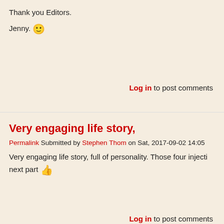Thank you Editors.

Jenny. 🙂
Log in to post comments
Very engaging life story,
Permalink Submitted by Stephen Thom on Sat, 2017-09-02 14:05
Very engaging life story, full of personality. Those four injecti… next part 👍